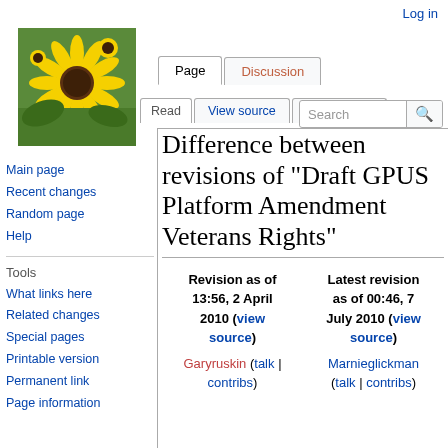Log in
[Figure (photo): Sunflower photo used as wiki logo]
Page | Discussion
Read | View source | View history | Search
Main page
Recent changes
Random page
Help
Tools
What links here
Related changes
Special pages
Printable version
Permanent link
Page information
Difference between revisions of "Draft GPUS Platform Amendment Veterans Rights"
| Revision as of 13:56, 2 April 2010 (view source) | Latest revision as of 00:46, 7 July 2010 (view source) |
| --- | --- |
| Garyruskin (talk | contribs) | Marnieglickman (talk | contribs) |